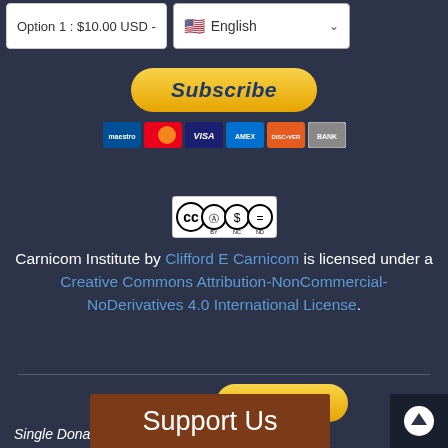Option 1 : $10.00 USD -
English
[Figure (screenshot): Subscribe PayPal button with payment card icons (Maestro, Mastercard, Visa, Amex, Discover, Bank)]
[Figure (logo): Creative Commons BY-NC-ND license badge]
Carnicom Institute by Clifford E Carnicom is licensed under a Creative Commons Attribution-NonCommercial-NoDerivatives 4.0 International License.
[Figure (screenshot): Donate PayPal button]
Single Donation:
[Figure (infographic): Payment card icons row (Maestro, Mastercard, Visa, Amex, Discover, Bank)]
Support Us
[Figure (other): Back to top arrow button]